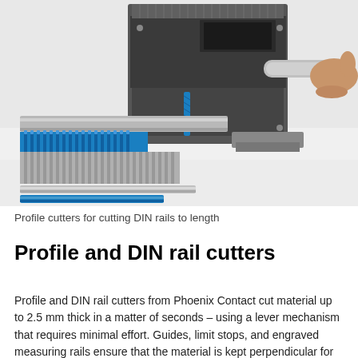[Figure (photo): Profile cutters for cutting DIN rails to length. A hand gripping a lever on a metal profile cutter machine, with blue and grey DIN rails and cable ducts arranged in front of the machine.]
Profile cutters for cutting DIN rails to length
Profile and DIN rail cutters
Profile and DIN rail cutters from Phoenix Contact cut material up to 2.5 mm thick in a matter of seconds – using a lever mechanism that requires minimal effort. Guides, limit stops, and engraved measuring rails ensure that the material is kept perpendicular for processing with millimeter precision.